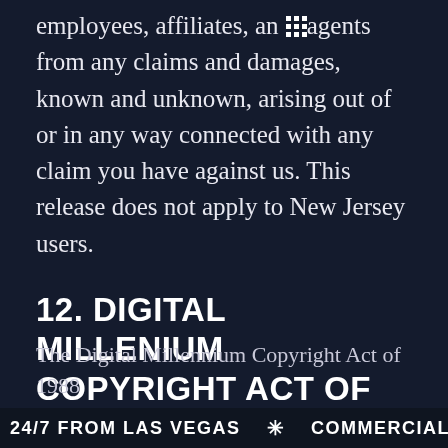employees, affiliates, and agents from any claims and damages, known and unknown, arising out of or in any way connected with any claim you have against us. This release does not apply to New Jersey users.
12. DIGITAL MILLENIUM COPYRIGHT ACT OF 1988
The Digital Millennium Copyright Act of 1988
24/7 FROM LAS VEGAS * COMMERCIAL-FR